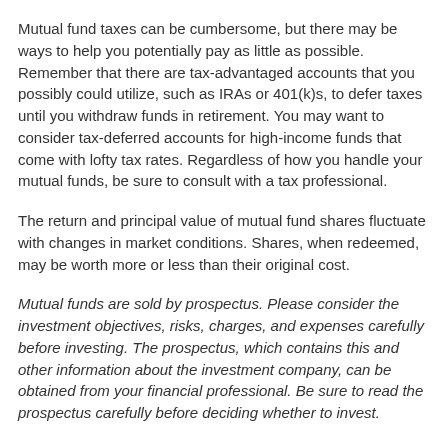Mutual fund taxes can be cumbersome, but there may be ways to help you potentially pay as little as possible. Remember that there are tax-advantaged accounts that you possibly could utilize, such as IRAs or 401(k)s, to defer taxes until you withdraw funds in retirement. You may want to consider tax-deferred accounts for high-income funds that come with lofty tax rates. Regardless of how you handle your mutual funds, be sure to consult with a tax professional.
The return and principal value of mutual fund shares fluctuate with changes in market conditions. Shares, when redeemed, may be worth more or less than their original cost.
Mutual funds are sold by prospectus. Please consider the investment objectives, risks, charges, and expenses carefully before investing. The prospectus, which contains this and other information about the investment company, can be obtained from your financial professional. Be sure to read the prospectus carefully before deciding whether to invest.